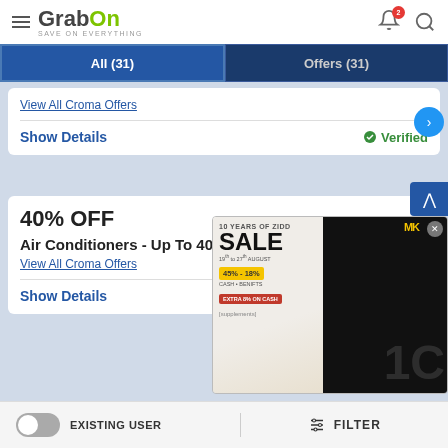[Figure (screenshot): GrabOn app header with hamburger menu, logo, notification bell with badge '2', and search icon]
[Figure (screenshot): Navigation tabs: 'All (31)' active tab and 'Offers (31)' inactive tab on dark blue background]
View All Croma Offers
Show Details
Verified
40% OFF
Air Conditioners - Up To 40% Off
View All Croma Offers
Show Details
[Figure (advertisement): MuscleBlaze 10 Years of Zidd Sale advertisement showing supplements and fitness model, with close button]
EXISTING USER
FILTER